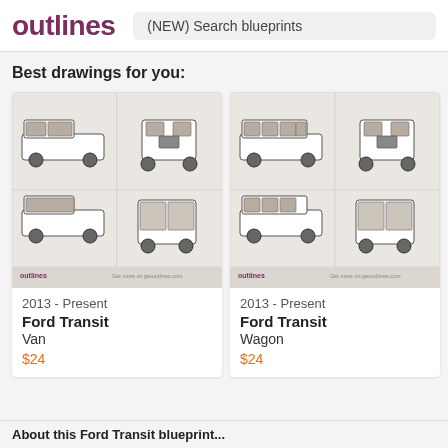outlines | (NEW) Search blueprints
Best drawings for you:
[Figure (illustration): Ford Transit Van blueprint showing side, front, rear, and top views on beige background with outlines logo]
2013 - Present
Ford Transit
Van
$24
[Figure (illustration): Ford Transit Wagon blueprint showing side, front, rear, and top views on beige background with outlines logo]
2013 - Present
Ford Transit
Wagon
$24
About this Ford Transit blueprint...